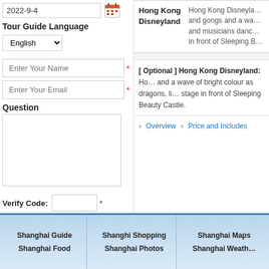2022-9-4
Tour Guide Language
English
Enter Your Name
Enter Your Email
Question
Verify Code: 1 0 0 3
Submit
Hong Kong Disneyland — Hong Kong Disneyland and gongs and a wave and musicians dance in front of Sleeping Beauty Castle.
[ Optional ] Hong Kong Disneyland: Hong Kong Disneyland and a wave of bright colour as dragons, lions stage in front of Sleeping Beauty Castle.
Overview | Price and Includes
Shanghai Guide | Shanghai Food | Shanghi Shopping | Shanghai Photos | Shanghai Maps | Shanghai Weather